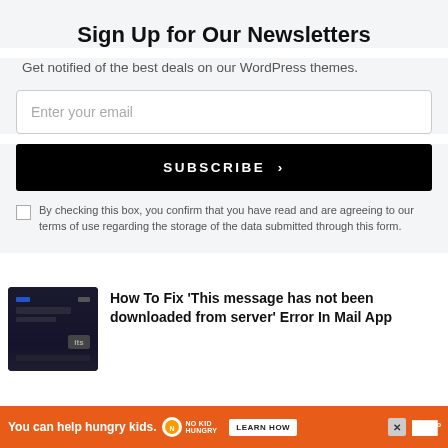Sign Up for Our Newsletters
Get notified of the best deals on our WordPress themes.
Enter your email
SUBSCRIBE ›
By checking this box, you confirm that you have read and are agreeing to our terms of use regarding the storage of the data submitted through this form.
[Figure (screenshot): Thumbnail screenshot of a dark email/mail app interface showing a message compose view]
How To Fix 'This message has not been downloaded from server' Error In Mail App
You can help hungry kids.  NO KID HUNGRY  LEARN HOW